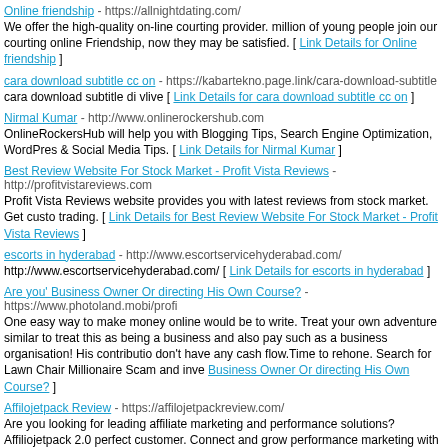Online friendship - https://allnightdating.com/
We offer the high-quality on-line courting provider. million of young people join our courting online Friendship, now they may be satisfied. [ Link Details for Online friendship ]
cara download subtitle cc on - https://kabartekno.page.link/cara-download-subtitle
cara download subtitle di vlive [ Link Details for cara download subtitle cc on ]
Nirmal Kumar - http://www.onlinerockershub.com
OnlineRockersHub will help you with Blogging Tips, Search Engine Optimization, WordPress & Social Media Tips. [ Link Details for Nirmal Kumar ]
Best Review Website For Stock Market - Profit Vista Reviews - http://profitvistareviews.com
Profit Vista Reviews website provides you with latest reviews from stock market. Get custo trading. [ Link Details for Best Review Website For Stock Market - Profit Vista Reviews ]
escorts in hyderabad - http://www.escortservicehyderabad.com/
http://www.escortservicehyderabad.com/ [ Link Details for escorts in hyderabad ]
Are you' Business Owner Or directing His Own Course? - https://www.photoland.mobi/profi
One easy way to make money online would be to write. Treat your own adventure similar to treat this as being a business and also pay such as a business organisation! His contribution don't have any cash flow.Time to rehone. Search for Lawn Chair Millionaire Scam and inve Business Owner Or directing His Own Course? ]
Affilojetpack Review - https://affilojetpackreview.com/
Are you looking for leading affiliate marketing and performance solutions? Affiliojetpack 2.0 perfect customer. Connect and grow performance marketing with AffiloJetpack discount pri
Best online lottery website to earn huge - http://indiansattamatka.com/
Welcome to IndianSattaMatka.Com we are the most powerful and popular satta matka web satta matka, madhur bazar result, milan satta, Rajdhani matka tips with fix matka number. get latest information about matka satta. It is official satta matka site for real matka players matka result and satta numbers. Recover your every kind of loss from Kalyan Satta Matka, Mumbai Results, Rajdhani Day/Night, Madhur Matka, Madhur Day/Night. Get recent weekl Satta Matka Chart, Fix Datefix Game. It's simple and easy to play. As sattamatka game is b guess exact numbers of lottery so doesn't pay to anybody for guessing number. We provide madhur night chart kalyan chart milan day chart milan night chart Raidhani day chart Raid